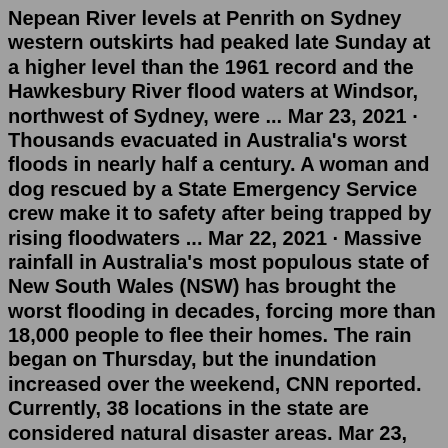Nepean River levels at Penrith on Sydney western outskirts had peaked late Sunday at a higher level than the 1961 record and the Hawkesbury River flood waters at Windsor, northwest of Sydney, were ... Mar 23, 2021 · Thousands evacuated in Australia's worst floods in nearly half a century. A woman and dog rescued by a State Emergency Service crew make it to safety after being trapped by rising floodwaters ... Mar 22, 2021 · Massive rainfall in Australia's most populous state of New South Wales (NSW) has brought the worst flooding in decades, forcing more than 18,000 people to flee their homes. The rain began on Thursday, but the inundation increased over the weekend, CNN reported. Currently, 38 locations in the state are considered natural disaster areas. Mar 23, 2021 · Thousands evacuated in Australia's worst floods in nearly half a century. A woman and dog rescued by a State Emergency Service crew make it to safety after being trapped by rising floodwaters ... A$4.8 billion [4] The 2022 Eastern Australia floods are one of the costliest known recorded flood...